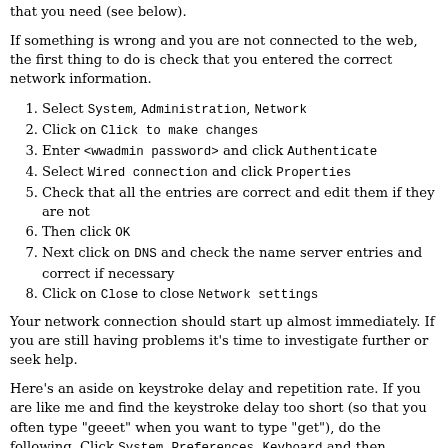that you need (see below).
If something is wrong and you are not connected to the web, the first thing to do is check that you entered the correct network information.
1. Select System, Administration, Network
2. Click on Click to make changes
3. Enter <wwadmin password> and click Authenticate
4. Select Wired connection and click Properties
5. Check that all the entries are correct and edit them if they are not
6. Then click OK
7. Next click on DNS and check the name server entries and correct if necessary
8. Click on Close to close Network settings
Your network connection should start up almost immediately. If you are still having problems it's time to investigate further or seek help.
Here's an aside on keystroke delay and repetition rate. If you are like me and find the keystroke delay too short (so that you often type "geeet" when you want to type "get"), do the following. Click System, Preferences, Keyboard and then increase the delay time interval and hit Close.